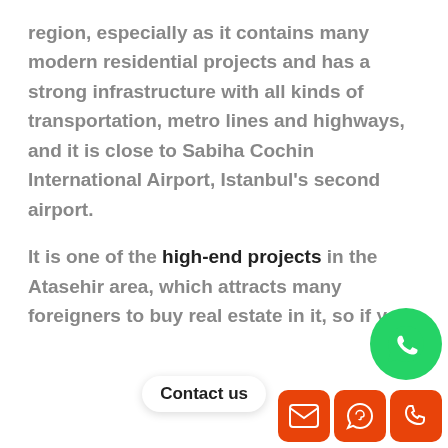region, especially as it contains many modern residential projects and has a strong infrastructure with all kinds of transportation, metro lines and highways, and it is close to Sabiha Cochin International Airport, Istanbul's second airport.
It is one of the high-end projects in the Atasehir area, which attracts many foreigners to buy real estate in it, so if you are thinking of buying an apartment in Asian Istanbul or the Atasehir area, you should think about buying in this distinctive project, which is
[Figure (other): Contact us button with WhatsApp green circle icon and two orange icon buttons (email and phone) at the bottom right of the page]